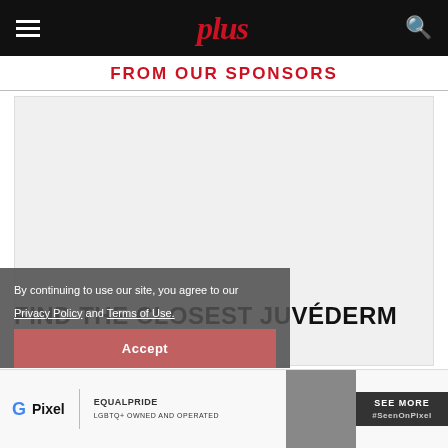plus
FROM OUR SPONSORS
[Figure (other): Advertisement placeholder — light grey rectangle]
FIND THE CLOSEST JUVÉDERM SPECIALIST
[Figure (logo): Allergan Juvederm logo — black square with white text, followed by ALLERGEN text]
By continuing to use our site, you agree to our Privacy Policy and Terms of Use. Accept
[Figure (other): Google Pixel equalpride advertisement banner at bottom of page — #SeenOnPixel]